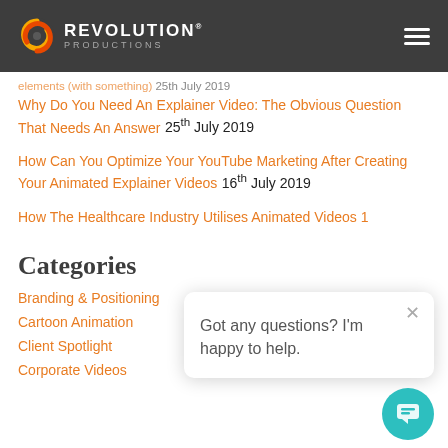REVOLUTION PRODUCTIONS
... (with something) 25th July 2019 [truncated/partially visible]
Why Do You Need An Explainer Video: The Obvious Question That Needs An Answer 25th July 2019
How Can You Optimize Your YouTube Marketing After Creating Your Animated Explainer Videos 16th July 2019
How The Healthcare Industry Utilises Animated Videos 1[truncated]
Categories
Branding & Positioning
Cartoon Animation
Client Spotlight
Corporate Videos
Got any questions? I'm happy to help.